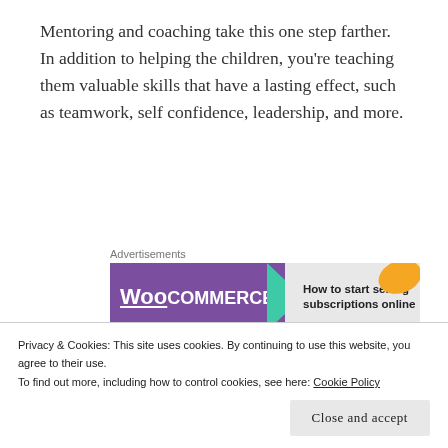Mentoring and coaching take this one step farther. In addition to helping the children, you're teaching them valuable skills that have a lasting effect, such as teamwork, self confidence, leadership, and more.
[Figure (other): WooCommerce advertisement banner with purple background, teal arrow, and text 'How to start selling subscriptions online']
One important thing to remember when working with children is that these are just kids — meaning they're still moldable and impressionable. Your actions can
Privacy & Cookies: This site uses cookies. By continuing to use this website, you agree to their use. To find out more, including how to control cookies, see here: Cookie Policy
Close and accept
and the world.